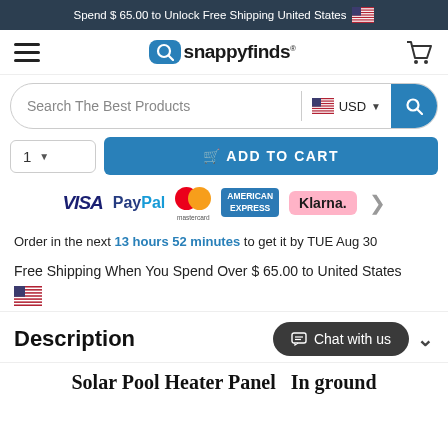Spend $ 65.00 to Unlock Free Shipping United States 🇺🇸
[Figure (logo): Snappyfinds logo with hamburger menu and cart icon navigation bar]
[Figure (screenshot): Search bar with 'Search The Best Products' placeholder, USD currency selector, and blue search button]
[Figure (screenshot): Quantity selector and blue ADD TO CART button]
[Figure (infographic): Payment logos: VISA, PayPal, Mastercard, American Express, Klarna]
Order in the next 13 hours 52 minutes to get it by TUE Aug 30
Free Shipping When You Spend Over $ 65.00 to United States 🇺🇸
Description
Solar Pool Heater Panel  In ground